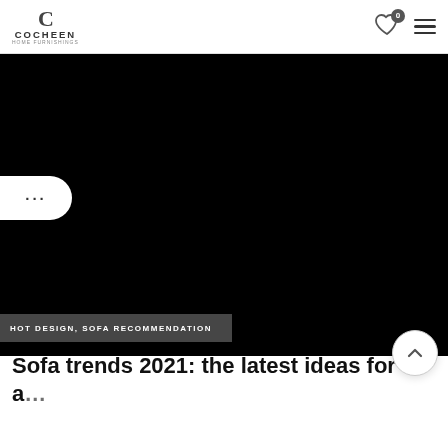COCHEEN HOME FURNISHINGS
[Figure (photo): Large hero image with black background, a share/options button (…) on the left side]
HOT DESIGN, SOFA RECOMMENDATION
Sofa trends 2021: the latest ideas for a…